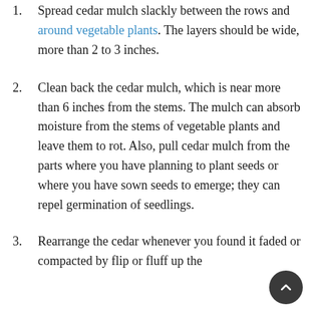1. Spread cedar mulch slackly between the rows and around vegetable plants. The layers should be wide, more than 2 to 3 inches.
2. Clean back the cedar mulch, which is near more than 6 inches from the stems. The mulch can absorb moisture from the stems of vegetable plants and leave them to rot. Also, pull cedar mulch from the parts where you have planning to plant seeds or where you have sown seeds to emerge; they can repel germination of seedlings.
3. Rearrange the cedar whenever you found it faded or compacted by flip or fluff up the